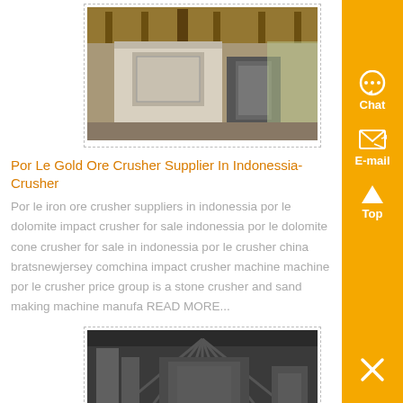[Figure (photo): Industrial crusher machine under a covered structure, white and grey equipment visible]
Por Le Gold Ore Crusher Supplier In Indonessia-Crusher
Por le iron ore crusher suppliers in indonessia por le dolomite impact crusher for sale indonessia por le dolomite cone crusher for sale in indonessia por le crusher china bratsnewjersey comchina impact crusher machine machine por le crusher price group is a stone crusher and sand making machine manufa READ MORE...
[Figure (photo): Industrial factory interior with large machinery and equipment]